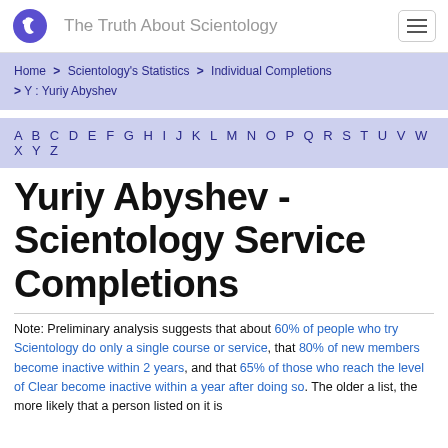The Truth About Scientology
Home > Scientology's Statistics > Individual Completions > Y : Yuriy Abyshev
A B C D E F G H I J K L M N O P Q R S T U V W X Y Z
Yuriy Abyshev - Scientology Service Completions
Note: Preliminary analysis suggests that about 60% of people who try Scientology do only a single course or service, that 80% of new members become inactive within 2 years, and that 65% of those who reach the level of Clear become inactive within a year after doing so. The older a list, the more likely that a person listed on it is